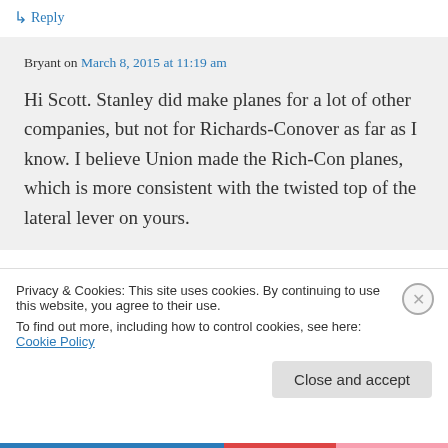↳ Reply
Bryant on March 8, 2015 at 11:19 am
Hi Scott. Stanley did make planes for a lot of other companies, but not for Richards-Conover as far as I know. I believe Union made the Rich-Con planes, which is more consistent with the twisted top of the lateral lever on yours.
Privacy & Cookies: This site uses cookies. By continuing to use this website, you agree to their use.
To find out more, including how to control cookies, see here: Cookie Policy